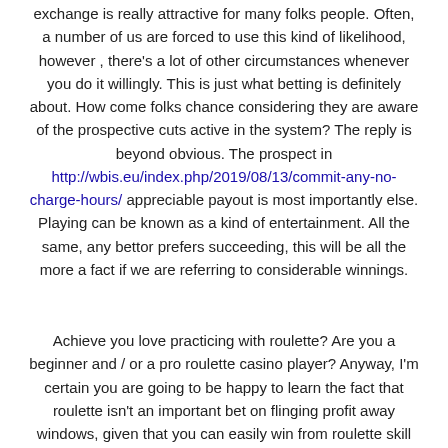exchange is really attractive for many folks people. Often, a number of us are forced to use this kind of likelihood, however , there's a lot of other circumstances whenever you do it willingly. This is just what betting is definitely about. How come folks chance considering they are aware of the prospective cuts active in the system? The reply is beyond obvious. The prospect in http://wbis.eu/index.php/2019/08/13/commit-any-no-charge-hours/ appreciable payout is most importantly else. Playing can be known as a kind of entertainment. All the same, any bettor prefers succeeding, this will be all the more a fact if we are referring to considerable winnings.
Achieve you love practicing with roulette? Are you a beginner and / or a pro roulette casino player? Anyway, I'm certain you are going to be happy to learn the fact that roulette isn't an important bet on flinging profit away windows, given that you can easily win from roulette skill and period again. How do which come to be? A option is simple. Most you need to do is certainly readily useful in addition to proved roulette